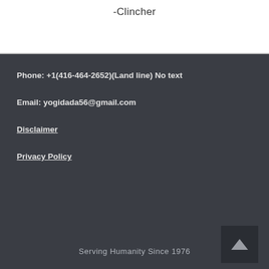-Clincher
Phone: +1(416-464-2652)(Land line) No text
Email: yogidada56@gmail.com
Disclaimer
Privacy Policy
Serving Humanity Since 1976